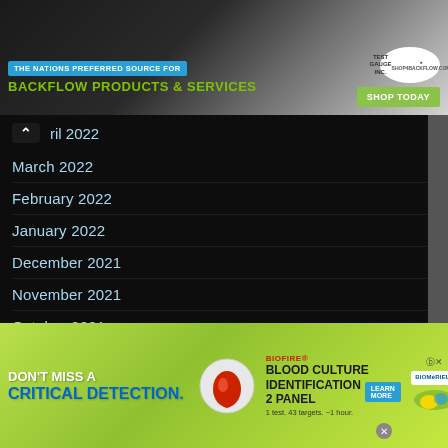[Figure (screenshot): Top advertisement banner for Test Gauge Inc. showing tagline 'THE NATIONS PREFERRED SOURCE FOR BACKFLOW PRODUCTS & SERVICES' with green 'SHOP TODAY' button and Test Gauge Inc. logo]
April 2022
March 2022
February 2022
January 2022
December 2021
November 2021
October 2021
September 2021
August 2021
July 2021
June 2021
May 2021
[Figure (screenshot): Bottom advertisement banner for BioFire Blood Culture Identification 2 Panel by bioMérieux. Text: DON'T MISS A CRITICAL DETECTION. BIOFIRE® BLOOD CULTURE IDENTIFICATION 2 PANEL. LEARN MORE. 1 test. 43 targets. ~1 hour.]